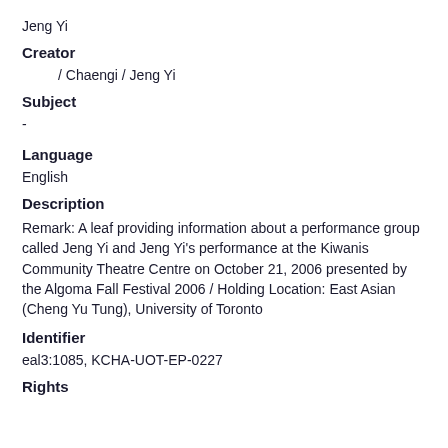Jeng Yi
Creator
/ Chaengi / Jeng Yi
Subject
-
Language
English
Description
Remark: A leaf providing information about a performance group called Jeng Yi and Jeng Yi's performance at the Kiwanis Community Theatre Centre on October 21, 2006 presented by the Algoma Fall Festival 2006 / Holding Location: East Asian (Cheng Yu Tung), University of Toronto
Identifier
eal3:1085, KCHA-UOT-EP-0227
Rights